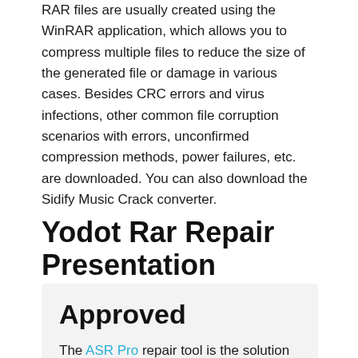RAR files are usually created using the WinRAR application, which allows you to compress multiple files to reduce the size of the generated file or damage in various cases. Besides CRC errors and virus infections, other common file corruption scenarios with errors, unconfirmed compression methods, power failures, etc. are downloaded. You can also download the Sidify Music Crack converter.
Yodot Rar Repair Presentation
Approved
The ASR Pro repair tool is the solution for a